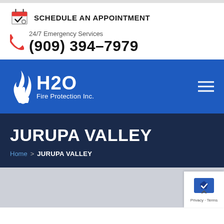SCHEDULE AN APPOINTMENT
24/7 Emergency Services
(909) 394-7979
[Figure (logo): H2O Fire Protection Inc. logo with flame icon on blue navigation bar]
JURUPA VALLEY
Home > JURUPA VALLEY